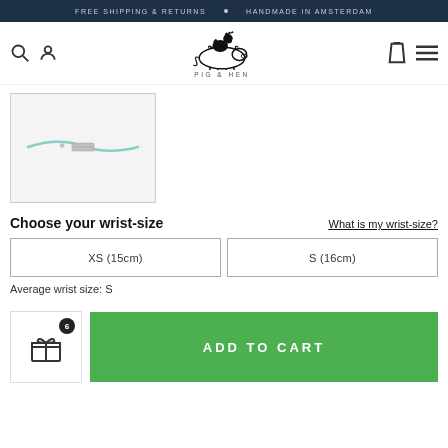FREE SHIPPING & RETURNS · HANDMADE IN AMSTERDAM
[Figure (logo): Pig & Hen logo with pig and hen illustration and text PIG & HEN]
[Figure (photo): Light blue cord bracelet with silver rectangular clasp on white background]
Choose your wrist-size
What is my wrist-size?
XS (15cm)
S (16cm)
Average wrist size: S
ADD TO CART